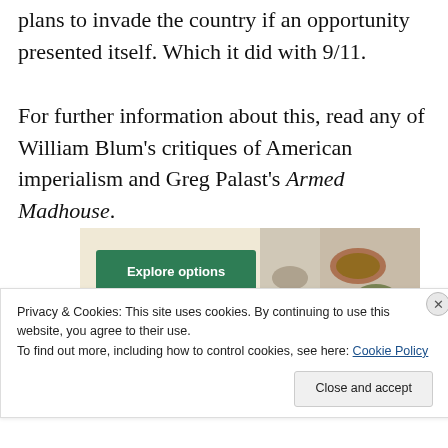plans to invade the country if an opportunity presented itself. Which it did with 9/11.

For further information about this, read any of William Blum's critiques of American imperialism and Greg Palast's Armed Madhouse.
[Figure (photo): Advertisement banner with a green 'Explore options' button on a beige background, and food images (bowls of food) on the right side.]
Privacy & Cookies: This site uses cookies. By continuing to use this website, you agree to their use.
To find out more, including how to control cookies, see here: Cookie Policy